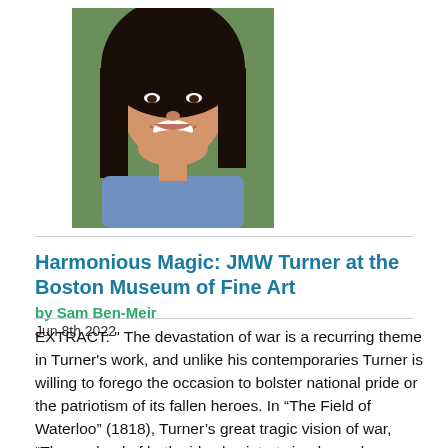[Figure (photo): Headshot of a smiling woman with long dark hair, wearing a blue top, outdoor background]
Harmonious Magic: JMW Turner at the Boston Museum of Fine Art
by Sam Ben-Meir
Jun 8th 2022
EXTRACT: " The devastation of war is a recurring theme in Turner's work, and unlike his contemporaries Turner is willing to forego the occasion to bolster national pride or the patriotism of its fallen heroes. In “The Field of Waterloo” (1818), Turner’s great tragic vision of war, “The…  dead of both sides lay intertwined, nearly indistinguishable surrounded by the gloom of night.” Near the bottom center there are three women. The one farthest from us is bearing a child and in her